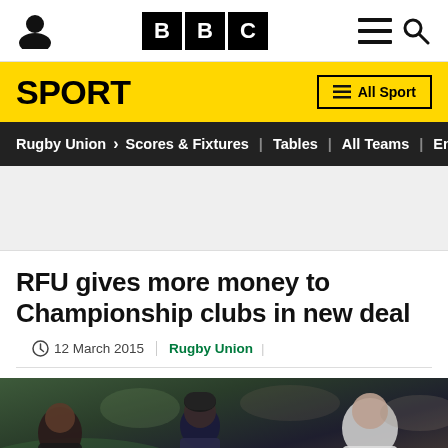BBC Sport - Rugby Union - RFU gives more money to Championship clubs in new deal
SPORT | All Sport
Rugby Union > Scores & Fixtures | Tables | All Teams | En
RFU gives more money to Championship clubs in new deal
12 March 2015 | Rugby Union
[Figure (photo): Rugby players in action during a Championship match, showing players in dark and light coloured kit on a green pitch]